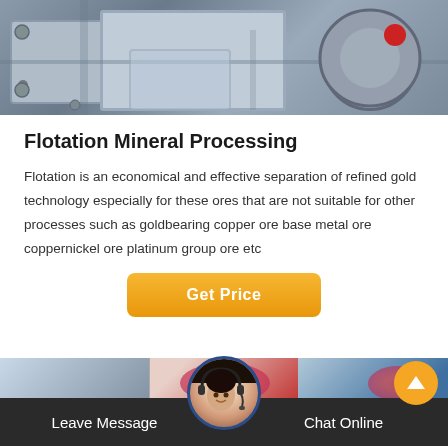[Figure (photo): Industrial machinery photo showing metallic equipment with cylindrical drum component and red marking, likely a flotation processing machine]
Flotation Mineral Processing
Flotation is an economical and effective separation of refined gold technology especially for these ores that are not suitable for other processes such as goldbearing copper ore base metal ore coppernickel ore platinum group ore etc
Get Price
[Figure (photo): Bottom navigation bar with three thumbnail images and customer service avatar with headset, showing Leave Message and Chat Online buttons]
Leave Message
Chat Online